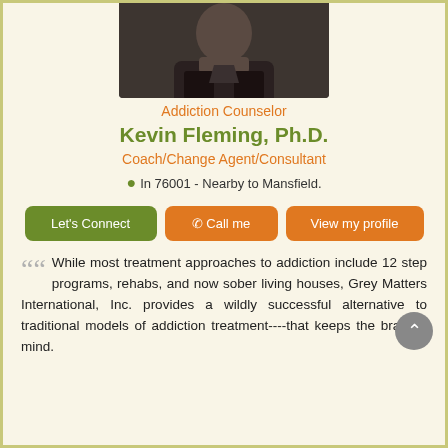[Figure (photo): Portrait photo of Kevin Fleming, Ph.D. — a man in dark clothing photographed from above the waist]
Addiction Counselor
Kevin Fleming, Ph.D.
Coach/Change Agent/Consultant
In 76001 - Nearby to Mansfield.
Let's Connect | Call me | View my profile
While most treatment approaches to addiction include 12 step programs, rehabs, and now sober living houses, Grey Matters International, Inc. provides a wildly successful alternative to traditional models of addiction treatment----that keeps the brain in mind.